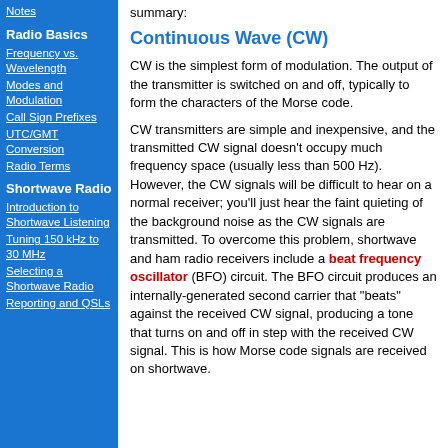Notes
Radio Basics
Frequency vs. Wavelength
Modes and Modulation
Call Sign Prefixes
UTC/GMT Conversion
Radio Terms
Shortwave Radio
Introduction to Shortwave Listening
Tuning 150 kHz to 30 MHz
Selecting a Shortwave Radio
Reporting and QSLs
summary:
Continuous Wave (CW)
CW is the simplest form of modulation. The output of the transmitter is switched on and off, typically to form the characters of the Morse code.
CW transmitters are simple and inexpensive, and the transmitted CW signal doesn't occupy much frequency space (usually less than 500 Hz). However, the CW signals will be difficult to hear on a normal receiver; you'll just hear the faint quieting of the background noise as the CW signals are transmitted. To overcome this problem, shortwave and ham radio receivers include a beat frequency oscillator (BFO) circuit. The BFO circuit produces an internally-generated second carrier that "beats" against the received CW signal, producing a tone that turns on and off in step with the received CW signal. This is how Morse code signals are received on shortwave.